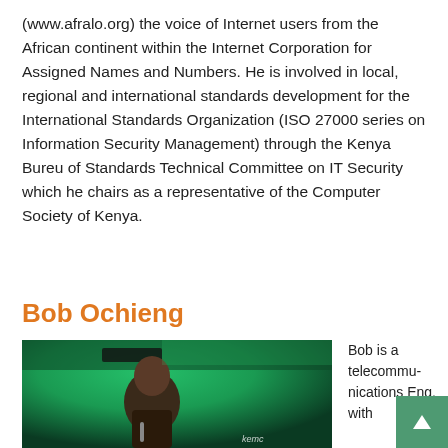(www.afralo.org) the voice of Internet users from the African continent within the Internet Corporation for Assigned Names and Numbers. He is involved in local, regional and international standards development for the International Standards Organization (ISO 27000 series on Information Security Management) through the Kenya Bureu of Standards Technical Committee on IT Security which he chairs as a representative of the Computer Society of Kenya.
Bob Ochieng
[Figure (photo): Photo of Bob Ochieng speaking at an event with green ambient lighting]
Bob is a telecommunications Eng. with